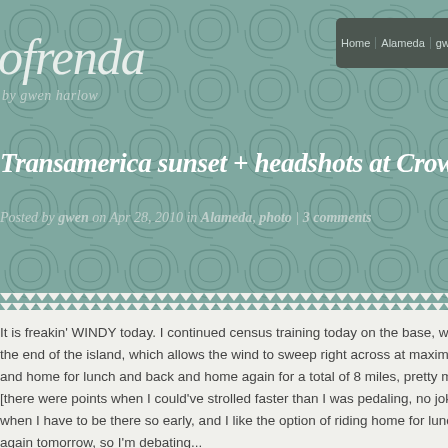ofrenda by gwen harlow
Home | Alameda | gwen » | holiday » | lo…
Transamerica sunset + headshots at Crown Beach
Posted by gwen on Apr 28, 2010 in Alameda, photo | 3 comments
It is freakin' WINDY today. I continued census training today on the base, which is t... the end of the island, which allows the wind to sweep right across at maximum velo... and home for lunch and back and home again for a total of 8 miles, pretty much all a... [there were points when I could've strolled faster than I was pedaling, no joke]. It's k... when I have to be there so early, and I like the option of riding home for lunch, but i... again tomorrow, so I'm debating...